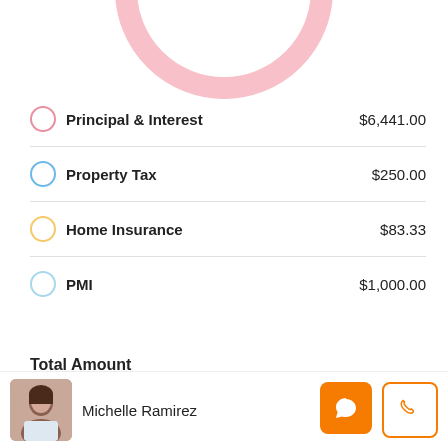[Figure (donut-chart): Partial donut chart visible at top of page, pink/rose colored arc]
Principal & Interest  $6,441.00
Property Tax  $250.00
Home Insurance  $83.33
PMI  $1,000.00
Total Amount
$ 890000
Down Payment
Michelle Ramirez